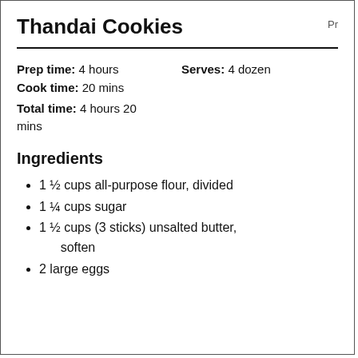Thandai Cookies
Prep time: 4 hours   Serves: 4 dozen
Cook time: 20 mins
Total time: 4 hours 20 mins
Ingredients
1 ½ cups all-purpose flour, divided
1 ¼ cups sugar
1 ½ cups (3 sticks) unsalted butter, soften
2 large eggs